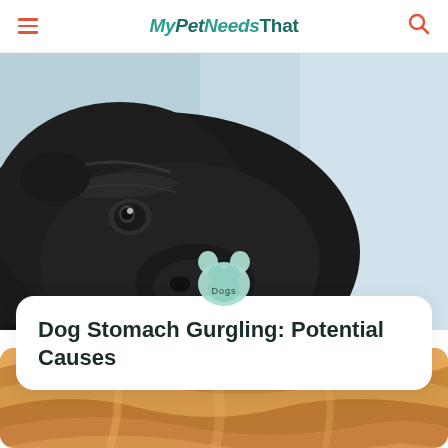MyPetNeedsThat
[Figure (photo): Close-up photo of a black French Bulldog with wrinkled face and paws, resting against a light blue background]
Dogs
Dog Stomach Gurgling: Potential Causes
[Figure (photo): Top-down view of a golden retriever dog with golden-orange fur]